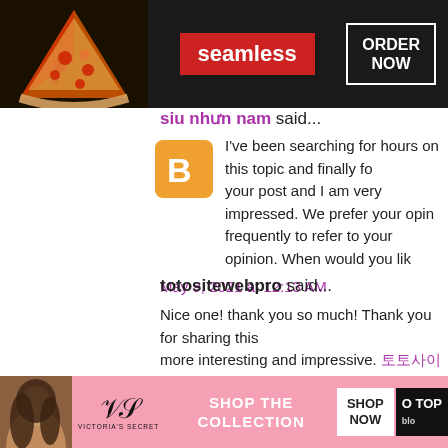[Figure (infographic): Seamless food delivery advertisement banner with pizza image on left, Seamless logo in red badge center, and ORDER NOW button on right, dark background]
siu nhưn nam said...
I've been searching for hours on this topic and finally found your post and I am very impressed. We prefer your opinion frequently to refer to your opinion. When would you li...
May 9, 2021 at 12:13 AM
totositewebpro said...
Nice one! thank you so much! Thank you for sharing this more interesting and impressive. 토토사이트
May 13, 2021 at 7:34 AM
racesiteinfo said...
[Figure (infographic): Victoria's Secret advertisement banner with model on left, VS logo, SHOP THE COLLECTION text, SHOP NOW button, and GO TOP partial text on right, pink background]